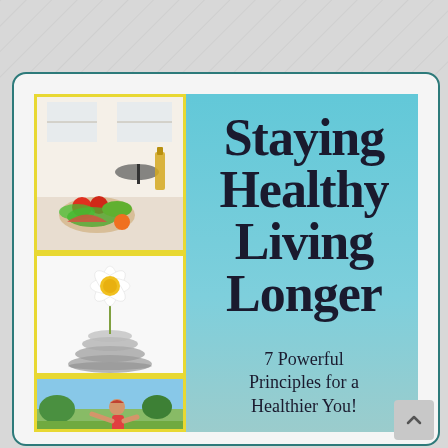[Figure (illustration): Book cover or promotional graphic for 'Staying Healthy Living Longer'. Left column has three photos: kitchen with vegetables, a flower balanced on stones, and a person exercising. Right side is a teal/blue gradient with bold serif title text and subtitle.]
Staying Healthy Living Longer
7 Powerful Principles for a Healthier You!